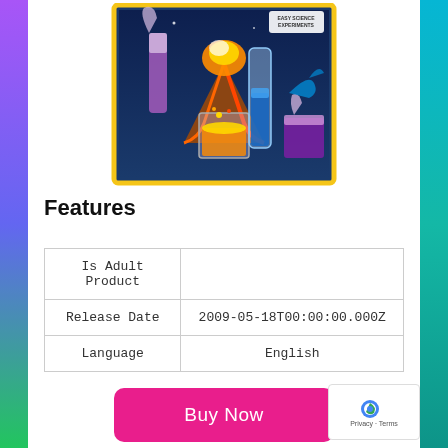[Figure (photo): Science experiment kit product box with colorful imagery of test tubes, volcanic eruption, and chemical reactions on a blue background with yellow border. Text reads 'Easy Science Experiments'.]
Features
| Is Adult Product |  |
| Release Date | 2009-05-18T00:00:00.000Z |
| Language | English |